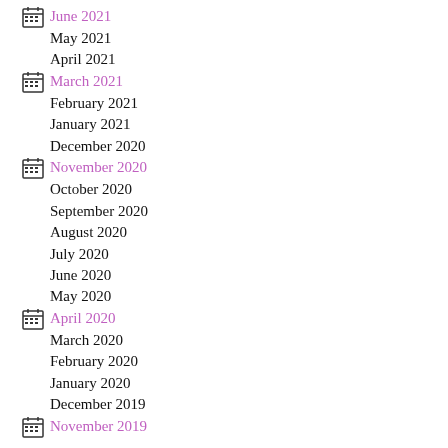June 2021
May 2021
April 2021
March 2021
February 2021
January 2021
December 2020
November 2020
October 2020
September 2020
August 2020
July 2020
June 2020
May 2020
April 2020
March 2020
February 2020
January 2020
December 2019
November 2019